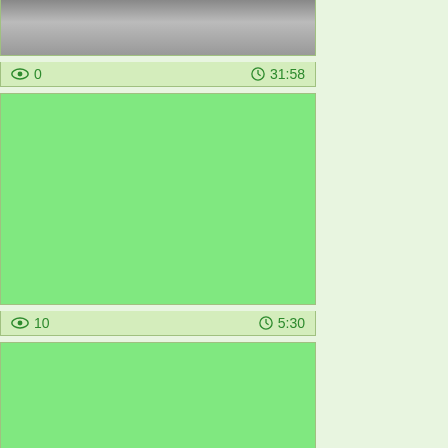[Figure (photo): Video thumbnail showing partial human figure, dark/grey tones]
👁 0    🕐 31:58
[Figure (photo): Green placeholder video thumbnail]
👁 10    🕐 5:30
[Figure (photo): Green placeholder video thumbnail]